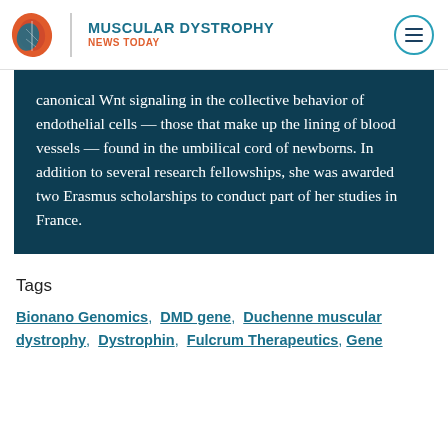MUSCULAR DYSTROPHY NEWS TODAY
canonical Wnt signaling in the collective behavior of endothelial cells — those that make up the lining of blood vessels — found in the umbilical cord of newborns. In addition to several research fellowships, she was awarded two Erasmus scholarships to conduct part of her studies in France.
Tags
Bionano Genomics, DMD gene, Duchenne muscular dystrophy, Dystrophin, Fulcrum Therapeutics, Gene